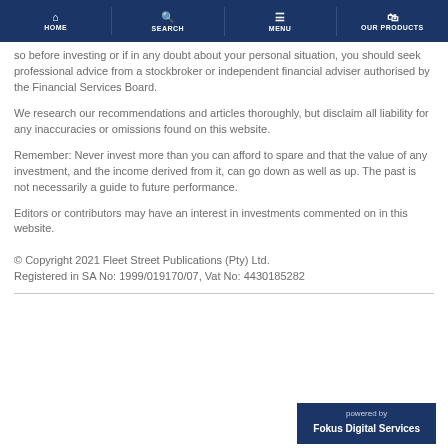HOME | SEARCH | MENU | OUR PRODUCTS
so before investing or if in any doubt about your personal situation, you should seek professional advice from a stockbroker or independent financial adviser authorised by the Financial Services Board.
We research our recommendations and articles thoroughly, but disclaim all liability for any inaccuracies or omissions found on this website.
Remember: Never invest more than you can afford to spare and that the value of any investment, and the income derived from it, can go down as well as up. The past is not necessarily a guide to future performance.
Editors or contributors may have an interest in investments commented on in this website.
© Copyright 2021 Fleet Street Publications (Pty) Ltd. Registered in SA No: 1999/019170/07, Vat No: 4430185282
powered by Fokus Digital Services